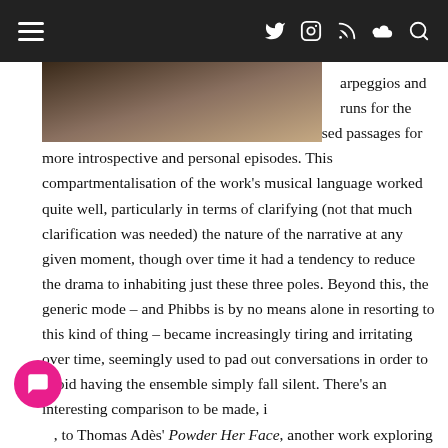≡  [social icons: Twitter, Instagram, RSS, Soundcloud, Search]
[Figure (photo): Partial photo of a person, cropped at top of page below the navigation bar]
arpeggios and runs for the rest of the exchanges; and extended drone-based passages for more introspective and personal episodes. This compartmentalisation of the work's musical language worked quite well, particularly in terms of clarifying (not that much clarification was needed) the nature of the narrative at any given moment, though over time it had a tendency to reduce the drama to inhabiting just these three poles. Beyond this, the generic mode – and Phibbs is by no means alone in resorting to this kind of thing – became increasingly tiring and irritating over time, seemingly used to pad out conversations in order to avoid having the ensemble simply fall silent. There's an interesting comparison to be made, i [n], to Thomas Adès' Powder Her Face, another work exploring a woman's exercising of power and authority and [continues]